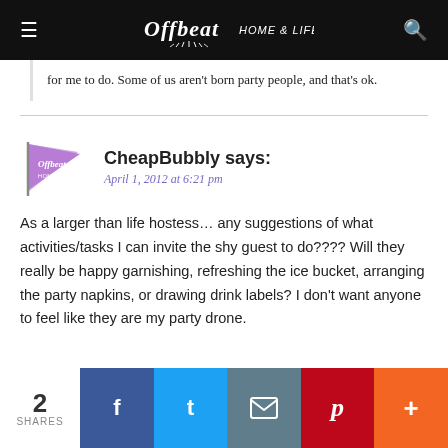Offbeat HOME & LIFE
for me to do. Some of us aren't born party people, and that's ok.
CheapBubbly says:
April 1, 2012 at 6:21 pm
As a larger than life hostess… any suggestions of what activities/tasks I can invite the shy guest to do????
Will they really be happy garnishing, refreshing the ice bucket, arranging the party napkins, or drawing drink labels?
I don't want anyone to feel like they are my party drone.
2 SHARES  Facebook  Twitter  Email  Pinterest  More